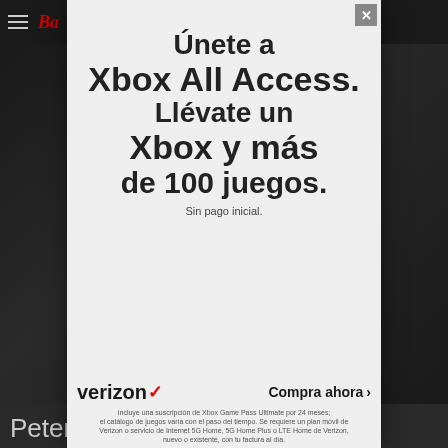Ba (logo)
[Figure (screenshot): Dark background page with partial image of a dark scene behind the modal overlay]
[Figure (infographic): Xbox All Access advertisement modal with Verizon branding. Text: Únete a Xbox All Access. Llévate un Xbox y más de 100 juegos. Sin pago inicial. Verizon checkmark logo. Compra ahora >. Fine print about Xbox Game Pass Ultimate subscription for 24 months.]
Peter